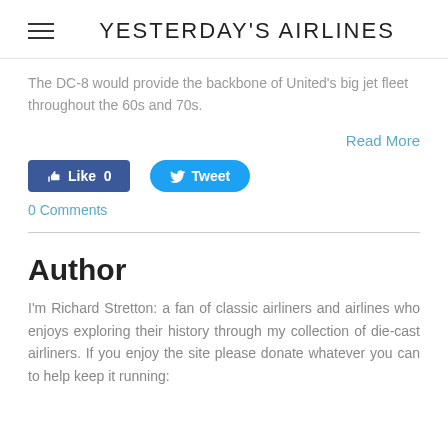YESTERDAY'S AIRLINES
The DC-8 would provide the backbone of United's big jet fleet throughout the 60s and 70s.
Read More
[Figure (screenshot): Facebook Like button showing 0 likes and a Twitter Tweet button]
0 Comments
Author
I'm Richard Stretton: a fan of classic airliners and airlines who enjoys exploring their history through my collection of die-cast airliners. If you enjoy the site please donate whatever you can to help keep it running: